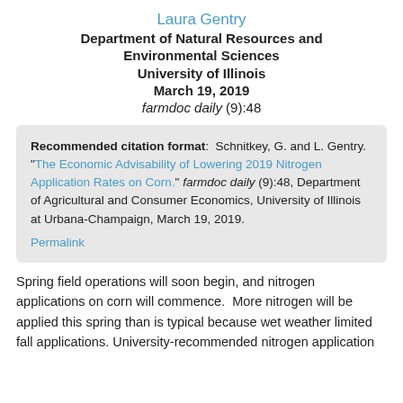Laura Gentry
Department of Natural Resources and Environmental Sciences
University of Illinois
March 19, 2019
farmdoc daily (9):48
Recommended citation format: Schnitkey, G. and L. Gentry. "The Economic Advisability of Lowering 2019 Nitrogen Application Rates on Corn." farmdoc daily (9):48, Department of Agricultural and Consumer Economics, University of Illinois at Urbana-Champaign, March 19, 2019.
Permalink
Spring field operations will soon begin, and nitrogen applications on corn will commence. More nitrogen will be applied this spring than is typical because wet weather limited fall applications. University-recommended nitrogen application